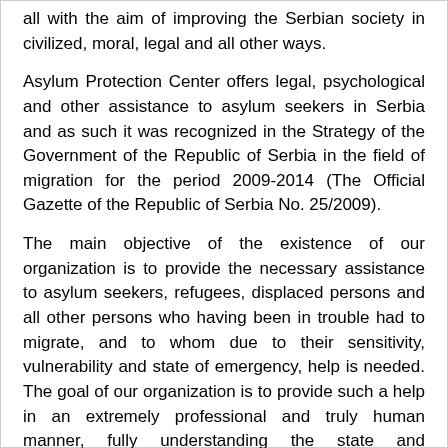all with the aim of improving the Serbian society in civilized, moral, legal and all other ways.
Asylum Protection Center offers legal, psychological and other assistance to asylum seekers in Serbia and as such it was recognized in the Strategy of the Government of the Republic of Serbia in the field of migration for the period 2009-2014 (The Official Gazette of the Republic of Serbia No. 25/2009).
The main objective of the existence of our organization is to provide the necessary assistance to asylum seekers, refugees, displaced persons and all other persons who having been in trouble had to migrate, and to whom due to their sensitivity, vulnerability and state of emergency, help is needed. The goal of our organization is to provide such a help in an extremely professional and truly human manner, fully understanding the state and circumstances in which asylum seekers, refugees, displaced persons and other persons, who had to migrated, are.